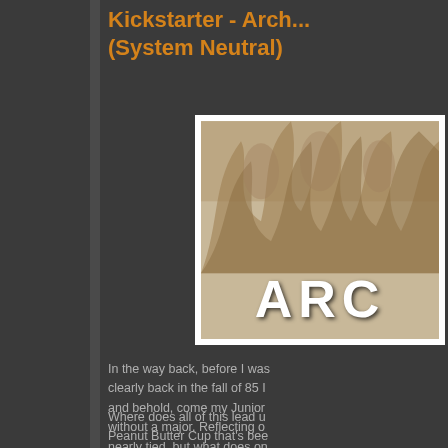Kickstarter - Arch... (System Neutral)
[Figure (illustration): Book cover image with smoky/flame background in sepia tones and large white bold letters 'ARC' visible]
In the way back, before I was clearly back in the fall of 85 I and behold, come my Junior without a major. Reflecting o nearly tied, but what does on
Where does all of this lead u Peanut Butter Cup that's bee